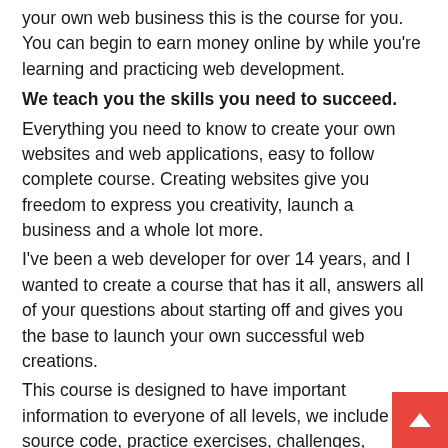your own web business this is the course for you. You can begin to earn money online by while you're learning and practicing web development.
We teach you the skills you need to succeed.
Everything you need to know to create your own websites and web applications, easy to follow complete course. Creating websites give you freedom to express you creativity, launch a business and a whole lot more.
I've been a web developer for over 14 years, and I wanted to create a course that has it all, answers all of your questions about starting off and gives you the base to launch your own successful web creations.
This course is designed to have important information to everyone of all levels, we include source code, practice exercises, challenges, quizzes, resources, examples, samples and everything else in between. I want you to be able to take this course and gain a solid understanding of how to create your own websites. This course is designed to be effective at teaching and stressing the important concepts and common